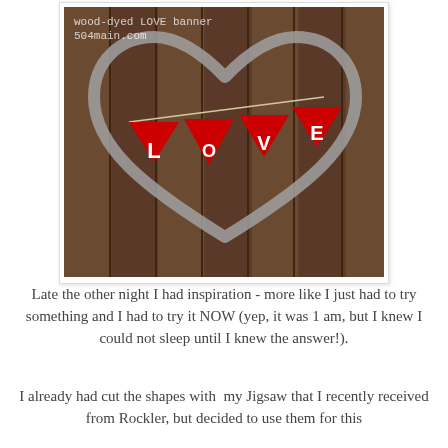[Figure (photo): A wood-dyed LOVE banner displayed against a wooden fence background, with a metal heart-shaped frame and red triangular pennant flags spelling out L-O-V-E, sourced from 504main.com]
Late the other night I had inspiration - more like I just had to try something and I had to try it NOW (yep, it was 1 am, but I knew I could not sleep until I knew the answer!).
I already had cut the shapes with  my Jigsaw that I recently received from Rockler, but decided to use them for this